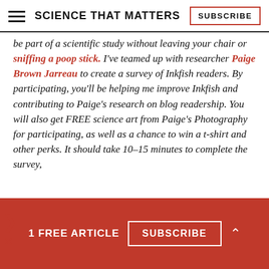SCIENCE THAT MATTERS | SUBSCRIBE
be part of a scientific study without leaving your chair or sniffing a poop stick. I've teamed up with researcher Paige Brown Jarreau to create a survey of Inkfish readers. By participating, you'll be helping me improve Inkfish and contributing to Paige's research on blog readership. You will also get FREE science art from Paige's Photography for participating, as well as a chance to win a t-shirt and other perks. It should take 10–15 minutes to complete the survey,
1 FREE ARTICLE  SUBSCRIBE